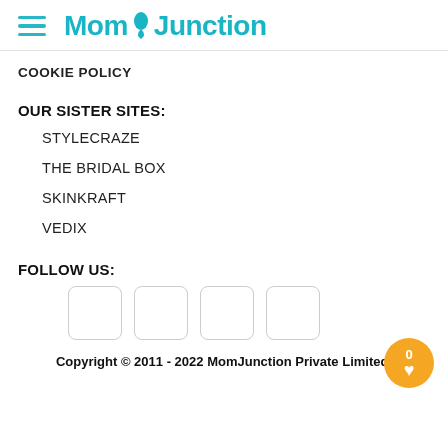MomJunction
COOKIE POLICY
OUR SISTER SITES:
STYLECRAZE
THE BRIDAL BOX
SKINKRAFT
VEDIX
FOLLOW US:
[Figure (other): Four social media icon placeholder boxes and a floating action button with 0 and heart icon]
Copyright © 2011 - 2022 MomJunction Private Limited.